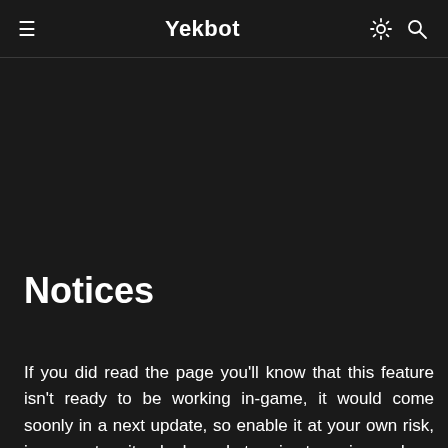≡  Yekbot  ☀ 🔍
Notices
If you did read the page you'll know that this feature isn't ready to be working in-game, it would come soonly in a next update, so enable it at your own risk, in my system it only degrade terrain streaming and